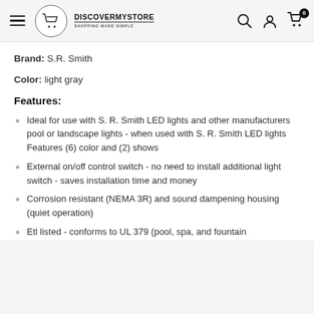DISCOVERMYSTORE - Shopping Made Simple | Navigation bar with search, account, and cart icons
Brand: S.R. Smith
Color: light gray
Features:
Ideal for use with S. R. Smith LED lights and other manufacturers pool or landscape lights - when used with S. R. Smith LED lights Features (6) color and (2) shows
External on/off control switch - no need to install additional light switch - saves installation time and money
Corrosion resistant (NEMA 3R) and sound dampening housing (quiet operation)
Etl listed - conforms to UL 379 (pool, spa, and fountain compatible) #5005508 certified to CSA C22.2#318